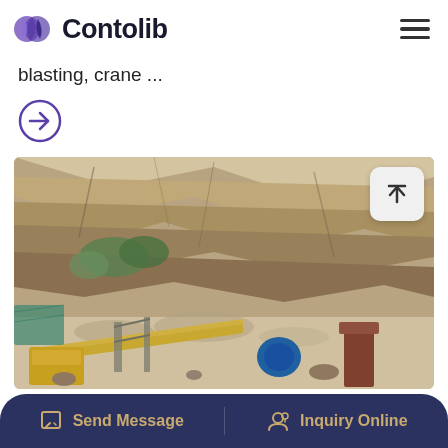Contolib
blasting, crane ...
[Figure (illustration): Arrow icon in a circle pointing right, purple/violet color]
[Figure (photo): Quarry or mining site photo showing heavy machinery including conveyor belts and crushers at the base of a large rocky cliff face with green vegetation]
Send Message   Inquiry Online